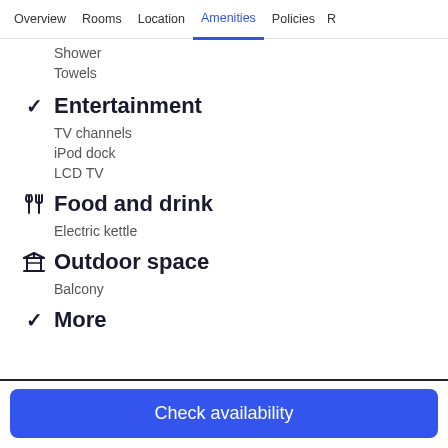Overview | Rooms | Location | Amenities | Policies | R
Shower
Towels
Entertainment
TV channels
iPod dock
LCD TV
Food and drink
Electric kettle
Outdoor space
Balcony
More
Check availability